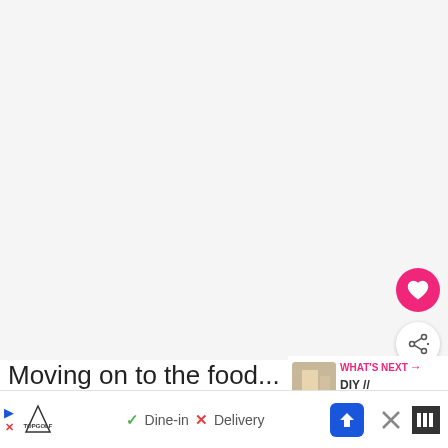[Figure (photo): Large light grey image area filling most of the upper portion of the page, with a heart (favourite) button and share button overlaid on the right side.]
Moving on to the food...
[Figure (infographic): WHAT'S NEXT panel with thumbnail image and text: WHAT'S NEXT → DIY // FLAMINGO...]
I had extra fabric left over from the
[Figure (screenshot): Advertisement banner: TopGolf logo, Dine-in with checkmark, Delivery with X, blue navigation arrow icon, close X button, and brand icon on right.]